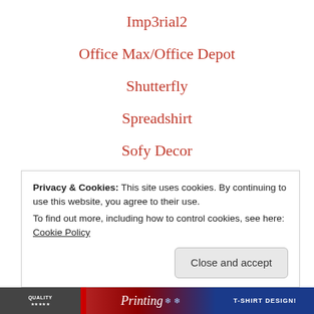Imp3rial2
Office Max/Office Depot
Shutterfly
Spreadshirt
Sofy Decor
Storenvy
Styled Stock Society
Privacy & Cookies: This site uses cookies. By continuing to use this website, you agree to their use.
To find out more, including how to control cookies, see here: Cookie Policy
Close and accept
[Figure (photo): Bottom banner showing printing/t-shirt design advertisements with text including 'QUALITY', 'Printing' in cursive with snowflakes, and 'T-SHIRT DESIGN']